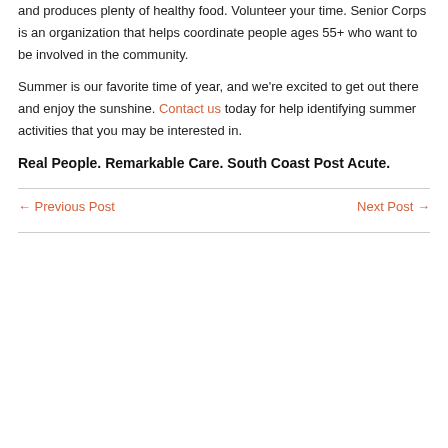and produces plenty of healthy food. Volunteer your time. Senior Corps is an organization that helps coordinate people ages 55+ who want to be involved in the community.
Summer is our favorite time of year, and we're excited to get out there and enjoy the sunshine. Contact us today for help identifying summer activities that you may be interested in.
Real People. Remarkable Care. South Coast Post Acute.
← Previous Post    Next Post →